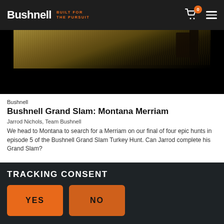Bushnell — BUILT FOR THE PURSUIT
[Figure (photo): Outdoor hunting scene in Montana — grassy field with trees, partially darkened at bottom]
Bushnell
Bushnell Grand Slam: Montana Merriam
Jarrod Nichols, Team Bushnell
We head to Montana to search for a Merriam on our final of four epic hunts in episode 5 of the Bushnell Grand Slam Turkey Hunt. Can Jarrod complete his Grand Slam?
TRACKING CONSENT
YES
NO